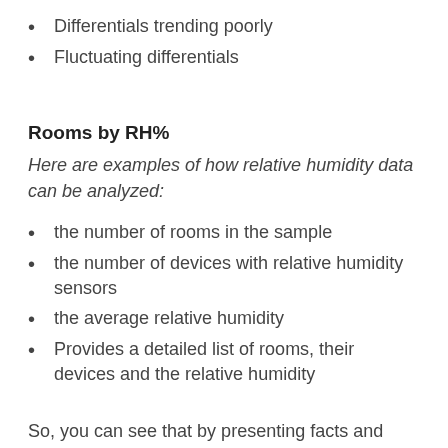Differentials trending poorly
Fluctuating differentials
Rooms by RH%
Here are examples of how relative humidity data can be analyzed:
the number of rooms in the sample
the number of devices with relative humidity sensors
the average relative humidity
Provides a detailed list of rooms, their devices and the relative humidity
So, you can see that by presenting facts and